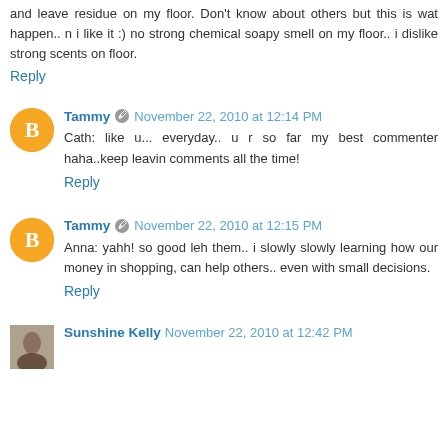and leave residue on my floor. Don't know about others but this is wat happen.. n i like it :) no strong chemical soapy smell on my floor.. i dislike strong scents on floor.
Reply
Tammy  November 22, 2010 at 12:14 PM
Cath: like u... everyday.. u r so far my best commenter haha..keep leavin comments all the time!
Reply
Tammy  November 22, 2010 at 12:15 PM
Anna: yahh! so good leh them.. i slowly slowly learning how our money in shopping, can help others.. even with small decisions.
Reply
Sunshine Kelly  November 22, 2010 at 12:42 PM